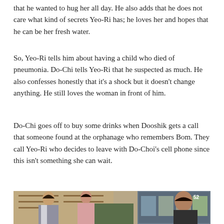that he wanted to hug her all day. He also adds that he does not care what kind of secrets Yeo-Ri has; he loves her and hopes that he can be her fresh water.
So, Yeo-Ri tells him about having a child who died of pneumonia. Do-Chi tells Yeo-Ri that he suspected as much. He also confesses honestly that it's a shock but it doesn't change anything. He still loves the woman in front of him.
Do-Chi goes off to buy some drinks when Dooshik gets a call that someone found at the orphanage who remembers Bom. They call Yeo-Ri who decides to leave with Do-Choi's cell phone since this isn't something she can wait.
[Figure (photo): A scene from a Korean drama showing three people in a convenience store or café setting. Two women and a man are visible. The woman on the left wears a gray blazer, the woman in the middle wears a pink outfit, and a man is visible on the right. Shelves with products are visible in the background along with a refrigerated display case.]